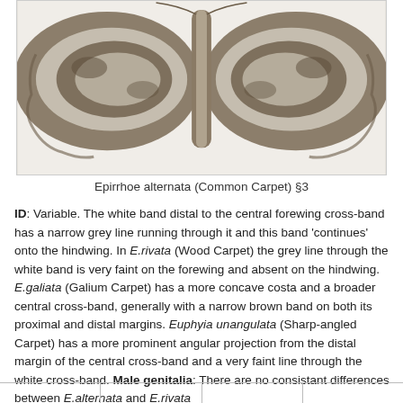[Figure (photo): Photograph of Epirrhoe alternata (Common Carpet) moth specimen, showing spread wings with brown and white banded pattern, viewed from above.]
Epirrhoe alternata (Common Carpet) §3
ID: Variable. The white band distal to the central forewing cross-band has a narrow grey line running through it and this band 'continues' onto the hindwing. In E.rivata (Wood Carpet) the grey line through the white band is very faint on the forewing and absent on the hindwing. E.galiata (Galium Carpet) has a more concave costa and a broader central cross-band, generally with a narrow brown band on both its proximal and distal margins. Euphyia unangulata (Sharp-angled Carpet) has a more prominent angular projection from the distal margin of the central cross-band and a very faint line through the white cross-band. Male genitalia: There are no consistant differences between E.alternata and E.rivata